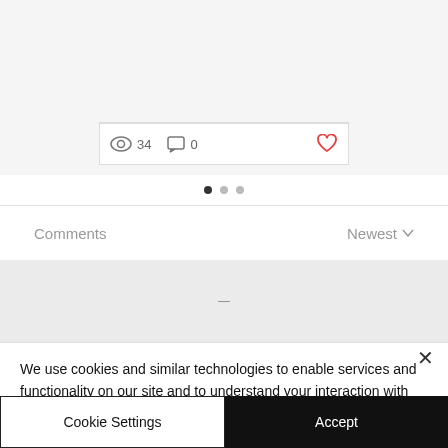[Figure (screenshot): UI card showing stats: 34 views, 0 comments, heart icon]
[Figure (screenshot): Pagination dots: one filled dark, two light]
Comments
Newest
[Figure (screenshot): Comments content area with loading indicator dash]
We use cookies and similar technologies to enable services and functionality on our site and to understand your interaction with our service. By clicking on accept, you agree to our use of such technologies for marketing and analytics. See Privacy Policy
Cookie Settings
Accept